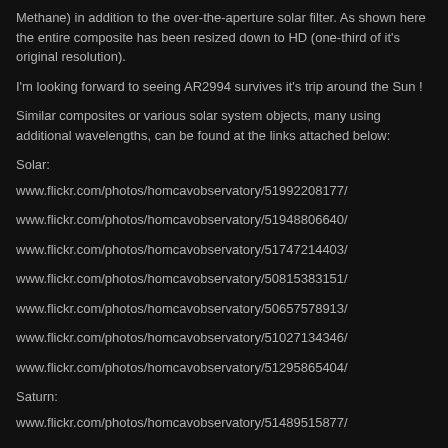Methane) in addition to the over-the-aperture solar filter. As shown here the entire composite has been resized down to HD (one-third of it's original resolution).
I'm looking forward to seeing AR2994 survives it's trip around the Sun !
Similar composites or various solar system objects, many using additional wavelengths, can be found at the links attached below:
Solar:
www.flickr.com/photos/homcavobservatory/51992208177/
www.flickr.com/photos/homcavobservatory/51948806640/
www.flickr.com/photos/homcavobservatory/51747214403/
www.flickr.com/photos/homcavobservatory/50815383151/
www.flickr.com/photos/homcavobservatory/50657578913/
www.flickr.com/photos/homcavobservatory/51027134346/
www.flickr.com/photos/homcavobservatory/51295865404/
Saturn:
www.flickr.com/photos/homcavobservatory/51489515877/